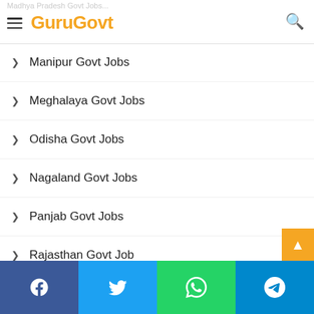GuruGovt
Manipur Govt Jobs
Meghalaya Govt Jobs
Odisha Govt Jobs
Nagaland Govt Jobs
Panjab Govt Jobs
Rajasthan Govt Job
Sikkim Govt Jobs
Tamilnadu Govt jobs
Uttar Pradesh Govt Jobs
Uttarakhand Govt Jobs
West Bangal govt jobs
Facebook | Twitter | WhatsApp | Telegram